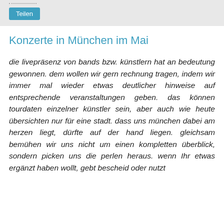Teilen
Konzerte in München im Mai
die livepräsenz von bands bzw. künstlern hat an bedeutung gewonnen. dem wollen wir gern rechnung tragen, indem wir immer mal wieder etwas deutlicher hinweise auf entsprechende veranstaltungen geben. das können tourdaten einzelner künstler sein, aber auch wie heute übersichten nur für eine stadt. dass uns münchen dabei am herzen liegt, dürfte auf der hand liegen. gleichsam bemühen wir uns nicht um einen kompletten überblick, sondern picken uns die perlen heraus. wenn Ihr etwas ergänzt haben wollt, gebt bescheid oder nutzt